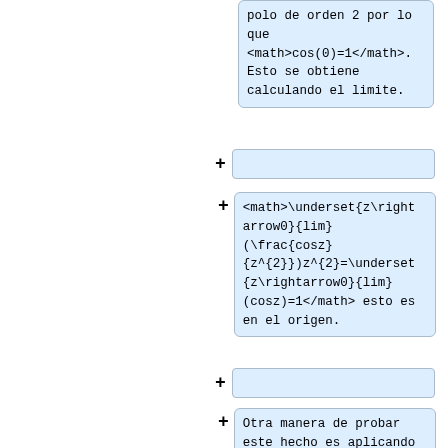polo de orden 2 por lo que <math>cos(0)=1</math>. Esto se obtiene calculando el limite.
<math>\underset{z\rightarrow0}{lim}(\frac{cosz}{z^{2}})z^{2}=\underset{z\rightarrow0}{lim}(cosz)=1</math> esto es en el origen.
Otra manera de probar este hecho es aplicando la serie de Laurent entonces: